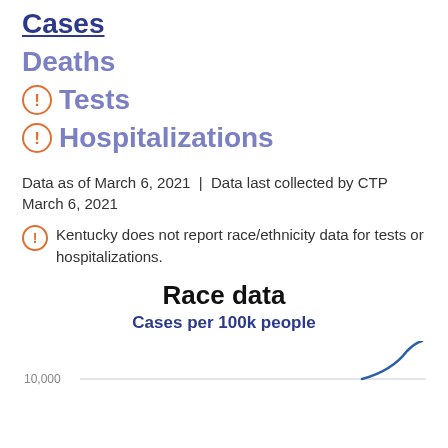Cases
Deaths
Tests
Hospitalizations
Data as of March 6, 2021 | Data last collected by CTP March 6, 2021
Kentucky does not report race/ethnicity data for tests or hospitalizations.
Race data
Cases per 100k people
[Figure (line-chart): Partial line chart showing cases per 100k people, with y-axis label 10,000 and a line curving upward at the right edge]